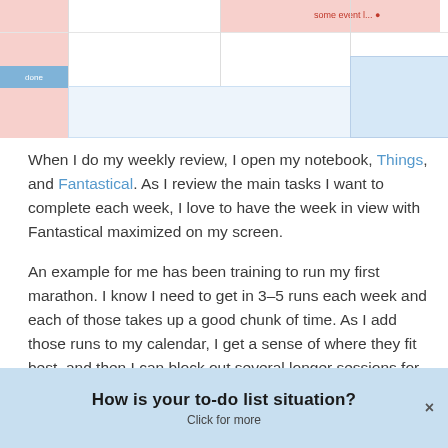[Figure (screenshot): Partial screenshot of a calendar application showing pink and blue color-coded event blocks in a weekly view]
When I do my weekly review, I open my notebook, Things, and Fantastical. As I review the main tasks I want to complete each week, I love to have the week in view with Fantastical maximized on my screen.
An example for me has been training to run my first marathon. I know I need to get in 3–5 runs each week and each of those takes up a good chunk of time. As I add those runs to my calendar, I get a sense of where they fit best, and then I can block out several longer sessions for focusing on my most important tasks of the week.
It's tough to beat the picture I get of my week!
How is your to-do list situation?
Click for more